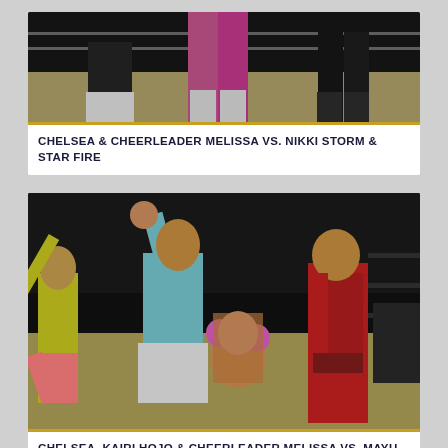[Figure (photo): Partial view of women wrestlers in a wrestling ring, showing legs and ring ropes, one performer wearing pink outfit and white boots]
CHELSEA & CHEERLEADER MELISSA VS. NIKKI STORM & STAR FIRE
[Figure (photo): Women wrestlers celebrating in a wrestling ring. Four women visible: one in yellow on left, one in teal/white raising fist, one in center crouching with pink gloves, one in red outfit on right. Dark arena background.]
CHELSEA, KAIRI HOJO & CHEERLEADER MELISSA VS. MAYU IWATANI, REO HAZUKI & TAKUMI IROHA